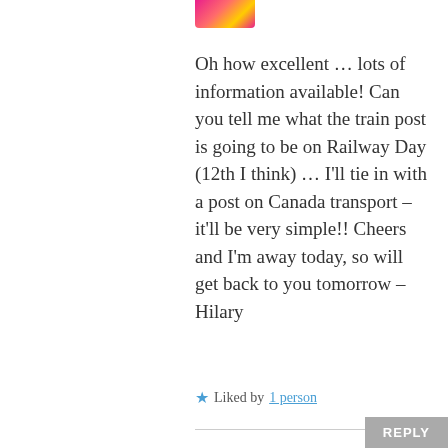[Figure (illustration): Partial avatar image at top, colorful pink/yellow illustration cropped at top of page]
Oh how excellent … lots of information available! Can you tell me what the train post is going to be on Railway Day (12th I think) … I'll tie in with a post on Canada transport – it'll be very simple!! Cheers and I'm away today, so will get back to you tomorrow – Hilary
★ Liked by 1 person
REPLY